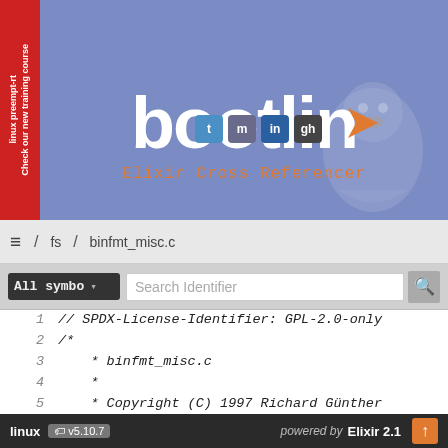HOME  ENGINEERING  TRAINING  DOCS  COMMUNITY  COMPANY
[Figure (screenshot): Bootlin website header banner with logo, social icons, ghost penguin mascot, and 'Elixir Cross Referencer' tagline. Red sidebar with 'linux preempt-rt Check our new training course' text.]
/ fs / binfmt_misc.c
All symbo ▾   Search Identifier
1    // SPDX-License-Identifier: GPL-2.0-only
2    /*
3     * binfmt_misc.c
4     *
5     * Copyright (C) 1997 Richard Günther
6     *
7     * binfmt_misc detects binaries via a magic
8     *
linux  v5.10.7    powered by Elixir 2.1